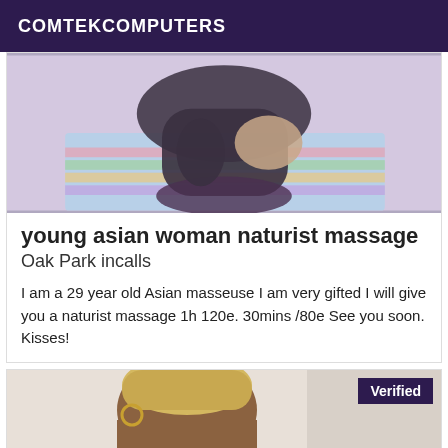COMTEKCOMPUTERS
[Figure (photo): Photo of a person in black tights/stockings kneeling on a colorful bed]
young asian woman naturist massage
Oak Park incalls
I am a 29 year old Asian masseuse I am very gifted I will give you a naturist massage 1h 120e. 30mins /80e See you soon. Kisses!
[Figure (photo): Photo of a person with blonde hair wearing a white lace top, with a Verified badge overlay]
Verified